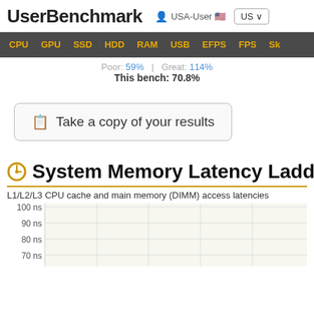UserBenchmark  USA-User  US
CPU  GPU  SSD  HDD  RAM  USB  EFPS  FPS  Sk
Poor: 59%  |  Great: 114%
This bench: 70.8%
📋 Take a copy of your results
System Memory Latency Ladder
L1/L2/L3 CPU cache and main memory (DIMM) access latencies
[Figure (continuous-plot): Y-axis showing memory latency in ns, with gridlines at 100 ns, 90 ns, 80 ns, 70 ns. Chart area is partially visible (cropped at bottom).]